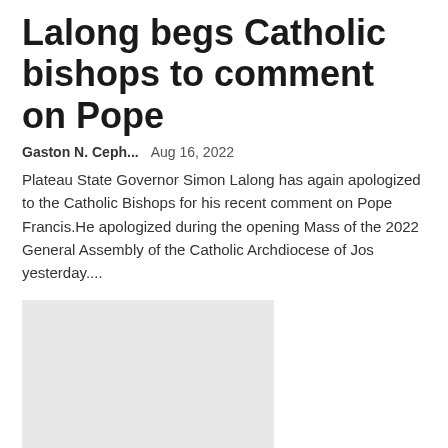Lalong begs Catholic bishops to comment on Pope
Gaston N. Ceph...    Aug 16, 2022
Plateau State Governor Simon Lalong has again apologized to the Catholic Bishops for his recent comment on Pope Francis.He apologized during the opening Mass of the 2022 General Assembly of the Catholic Archdiocese of Jos yesterday....
[Figure (photo): Light grey placeholder image for an article photo]
A woman worships the tricolor in a video shared by an IAS